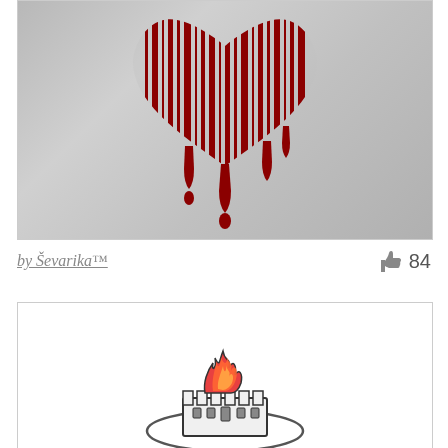[Figure (illustration): A dripping barcode heart illustration on a gray textured background. The heart shape is formed by vertical barcode lines with red/dark red blood dripping down from it, forming drops below.]
by Ševarika™
84
[Figure (logo): A circular emblem/logo featuring a castle tower with flames rising from the top. The logo has black outlines with red/orange flames and appears to be a detailed illustrated badge.]